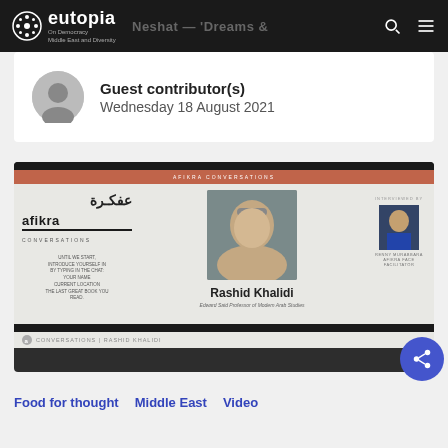eutopia | Neshat — 'Dreams Where Our Fears Live' | Tate
Guest contributor(s)
Wednesday 18 August 2021
[Figure (screenshot): Afikra Conversations screenshot featuring Rashid Khalidi, Edward Said Professor of Modern Arab Studies, with afikra logo and interviewer photo on the right.]
CONVERSATIONS | RASHID KHALIDI
Food for thought
Middle East
Video